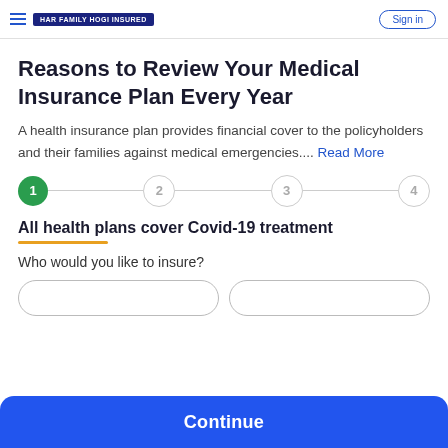HAR FAMILY HOGI INSURED | Sign in
Reasons to Review Your Medical Insurance Plan Every Year
A health insurance plan provides financial cover to the policyholders and their families against medical emergencies.... Read More
[Figure (infographic): Step progress indicator with 4 steps; step 1 is active (green filled circle), steps 2, 3, 4 are inactive (grey outline circles), connected by a grey horizontal line.]
All health plans cover Covid-19 treatment
Who would you like to insure?